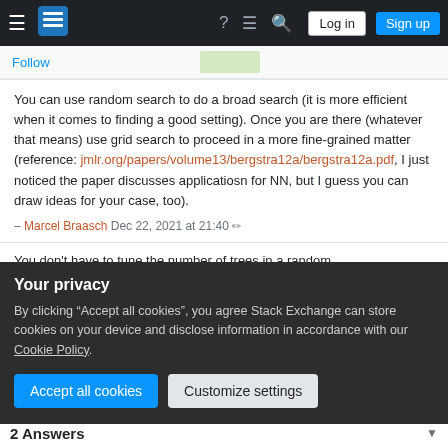Stack Exchange navigation bar with hamburger menu, logo, help, chat, search icons, Log in and Sign up buttons
Follow
You can use random search to do a broad search (it is more efficient when it comes to finding a good setting). Once you are there (whatever that means) use grid search to proceed in a more fine-grained matter (reference: jmlr.org/papers/volume13/bergstra12a/bergstra12a.pdf, I just noticed the paper discusses applicatiosn for NN, but I guess you can draw ideas for your case, too). – Marcel Braasch Dec 22, 2021 at 21:40
You don't have to tune the number of trees in a random
Your privacy
By clicking "Accept all cookies", you agree Stack Exchange can store cookies on your device and disclose information in accordance with our Cookie Policy.
Accept all cookies   Customize settings
2 Answers